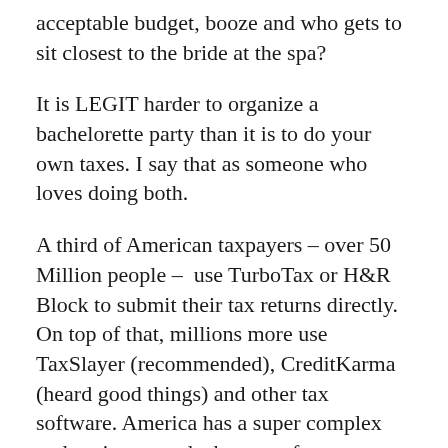acceptable budget, booze and who gets to sit closest to the bride at the spa?
It is LEGIT harder to organize a bachelorette party than it is to do your own taxes. I say that as someone who loves doing both.
A third of American taxpayers – over 50 Million people –  use TurboTax or H&R Block to submit their tax returns directly. On top of that, millions more use TaxSlayer (recommended), CreditKarma (heard good things) and other tax software. America has a super complex and sexist tax code, but very few tax situations require a tax pro. You can do your own taxes.
Two thirds of women can even do their taxes for free…